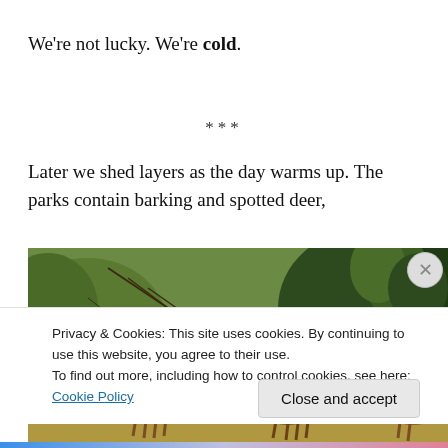We're not lucky. We're cold.
***
Later we shed layers as the day warms up. The parks contain barking and spotted deer,
[Figure (photo): Photo of spotted deer (chital) in a natural park setting with trees and bamboo vegetation in the background.]
Privacy & Cookies: This site uses cookies. By continuing to use this website, you agree to their use.
To find out more, including how to control cookies, see here: Cookie Policy
Close and accept